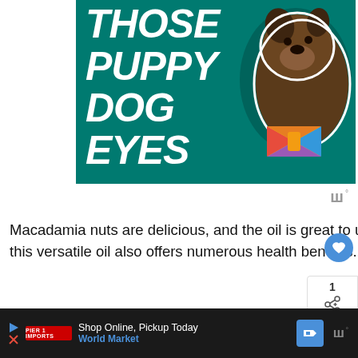[Figure (illustration): Promotional banner with teal/dark green background showing bold white italic text 'THOSE PUPPY DOG EYES' and a brindle dog with colorful geometric bow tie on the right side]
Macadamia nuts are delicious, and the oil is great to use in cooking. But this versatile oil also offers numerous health benefits.
1. Skin Health
Many of the fatty acids found naturally in macadamia nut oil are used in cosmetics and
[Figure (screenshot): Bottom advertisement bar: black background with play button, World Market logo, text 'Shop Online, Pickup Today' and 'World Market' in blue, blue direction sign icon, and WW logo]